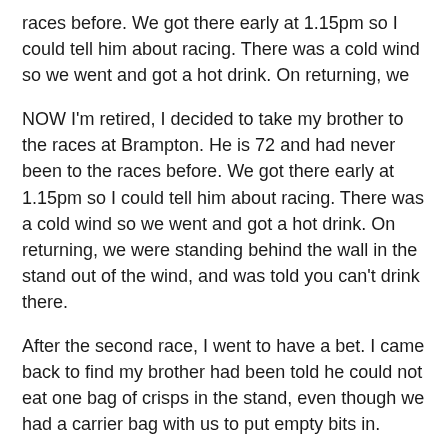races before. We got there early at 1.15pm so I could tell him about racing. There was a cold wind so we went and got a hot drink. On returning, we
NOW I'm retired, I decided to take my brother to the races at Brampton. He is 72 and had never been to the races before. We got there early at 1.15pm so I could tell him about racing. There was a cold wind so we went and got a hot drink. On returning, we were standing behind the wall in the stand out of the wind, and was told you can't drink there.
After the second race, I went to have a bet. I came back to find my brother had been told he could not eat one bag of crisps in the stand, even though we had a carrier bag with us to put empty bits in.
There are no signs saying "no drink, no food". I've been